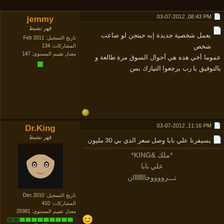03-07-2012, 08:43 PM
jemmy
قهر نشيط
تاريخ التسجيل: Feb 2011
المشاركات: 134
معدل تقييم المستوى: 147
يعمل شخصية جديدة إبه حيتجن لو ضاعت شخص...
عموما أخي هده هي أحوال السوق مرة طالعة و...
بالتوفيق يا رب يرجعوا النيازك بس
03-07-2012, 11:16 PM
Dr.King
قهر نشيط
تاريخ التسجيل: Dec 2010
المشاركات: 410
معدل تقييم المستوى: 25981
بسيفرنا علي بابا وصل سعر الدي بي 30 مليون...
*ملك &KING*
علي بابا
ترووووجاlllllان